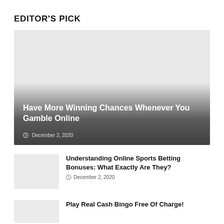EDITOR'S PICK
[Figure (photo): Featured article image with gradient overlay showing article title and date]
Have More Winning Chances Whenever You Gamble Online
December 2, 2020
[Figure (photo): Small thumbnail image for article about sports betting bonuses]
Understanding Online Sports Betting Bonuses: What Exactly Are They?
December 2, 2020
[Figure (photo): Small thumbnail image for article about bingo]
Play Real Cash Bingo Free Of Charge!